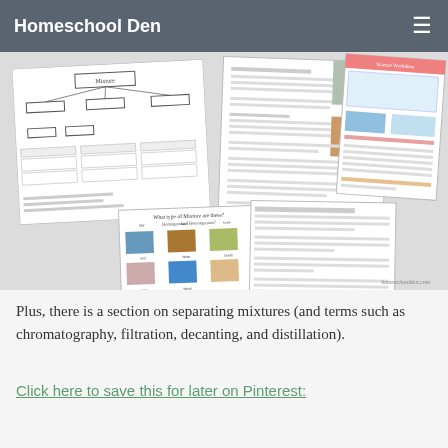Homeschool Den
[Figure (screenshot): Collage of homeschool science worksheets about mixtures, including diagrams, activity sheets with photos of materials, and fillable student worksheets. Watermark: homeschoolden.com]
Plus, there is a section on separating mixtures (and terms such as chromatography, filtration, decanting, and distillation).
Click here to save this for later on Pinterest: